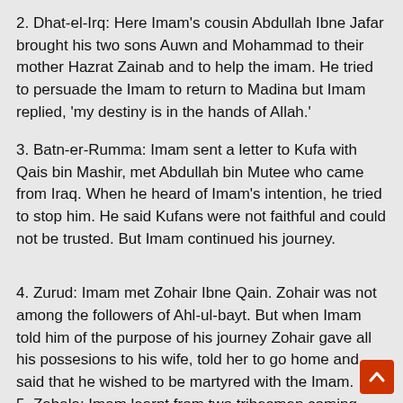2. Dhat-el-Irq: Here Imam's cousin Abdullah Ibne Jafar brought his two sons Auwn and Mohammad to their mother Hazrat Zainab and to help the imam. He tried to persuade the Imam to return to Madina but Imam replied, 'my destiny is in the hands of Allah.'
3. Batn-er-Rumma: Imam sent a letter to Kufa with Qais bin Mashir, met Abdullah bin Mutee who came from Iraq. When he heard of Imam's intention, he tried to stop him. He said Kufans were not faithful and could not be trusted. But Imam continued his journey.
4. Zurud: Imam met Zohair Ibne Qain. Zohair was not among the followers of Ahl-ul-bayt. But when Imam told him of the purpose of his journey Zohair gave all his possesions to his wife, told her to go home and said that he wished to be martyred with the Imam.
5. Zabala: Imam learnt from two tribesmen coming from Kufa of the death of Hazrat Muslim. Imam said, 'Innan Lillahe wa